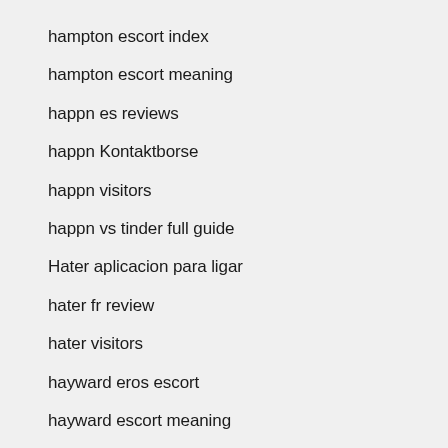hampton escort index
hampton escort meaning
happn es reviews
happn Kontaktborse
happn visitors
happn vs tinder full guide
Hater aplicacion para ligar
hater fr review
hater visitors
hayward eros escort
hayward escort meaning